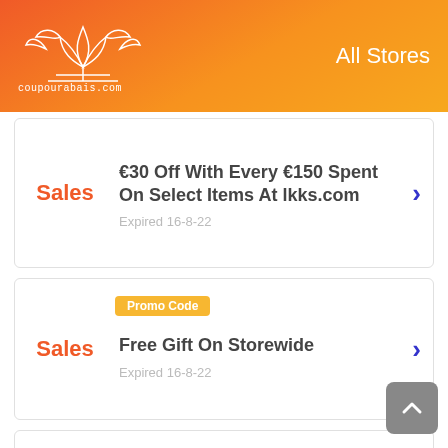All Stores - coupourabais.com
Sales | €30 Off With Every €150 Spent On Select Items At lkks.com | Expired 16-8-22
Sales | Promo Code | Free Gift On Storewide | Expired 16-8-22
Sales | NEW AUTUM WINTER Starting At €25,00 | Expired 17-8-22